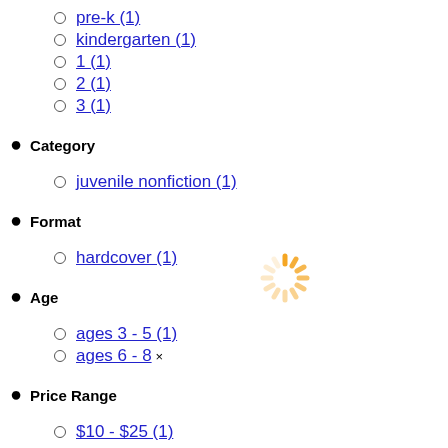pre-k (1)
kindergarten (1)
1 (1)
2 (1)
3 (1)
Category
juvenile nonfiction (1)
Format
hardcover (1)
[Figure (infographic): Loading spinner icon in orange/yellow color]
Age
ages 3 - 5 (1)
ages 6 - 8 ×
Price Range
$10 - $25 (1)